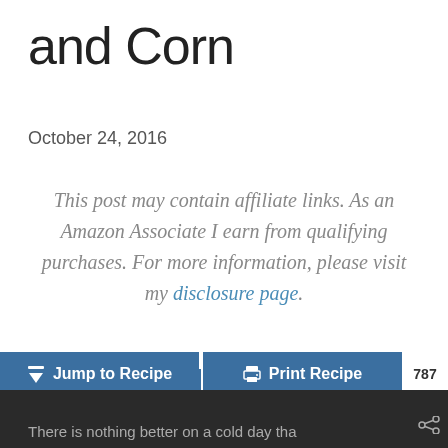and Corn
October 24, 2016
This post may contain affiliate links. As an Amazon Associate I earn from qualifying purchases. For more information, please visit my disclosure page.
771 SHARES  f 4  [twitter]  P 767
Jump to Recipe  Print Recipe  787
There is nothing better on a cold day than...